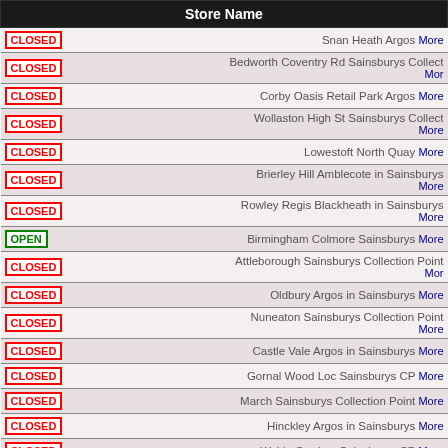|  | Store Name |
| --- | --- |
| CLOSED | Snan Heath Argos More |
| CLOSED | Bedworth Coventry Rd Sainsburys Collect More |
| CLOSED | Corby Oasis Retail Park Argos More |
| CLOSED | Wollaston High St Sainsburys Collect More |
| CLOSED | Lowestoft North Quay More |
| CLOSED | Brierley Hill Amblecote in Sainsburys More |
| CLOSED | Rowley Regis Blackheath in Sainsburys More |
| OPEN | Birmingham Colmore Sainsburys More |
| CLOSED | Attleborough Sainsburys Collection Point More |
| CLOSED | Oldbury Argos in Sainsburys More |
| CLOSED | Nuneaton Sainsburys Collection Point More |
| CLOSED | Castle Vale Argos in Sainsburys More |
| CLOSED | Gornal Wood Loc Sainsburys CP More |
| CLOSED | March Sainsburys Collection Point More |
| CLOSED | Hinckley Argos in Sainsburys More |
| CLOSED | Wylde Grn Loc Sainsburys CP More |
| CLOSED | Wombourne Sainsburys Collection Point More |
| CLOSED | Bridgnorth Sainsburys Collection Point More |
| CLOSED | Peterborough Sainsburys Collection Point More |
| CLOSED | Bretton Sainsburys Collection Point More |
| CLOSED | Peterborough Maskew Avenue More |
| CLOSED | Wigston Argos in Sainsburys More |